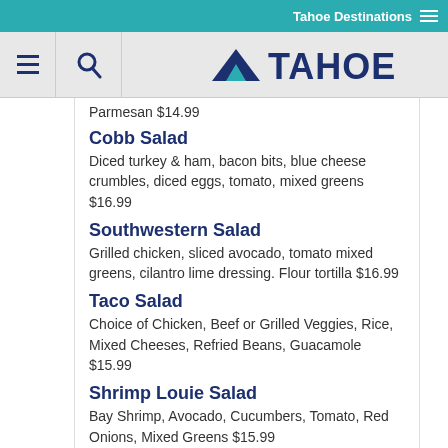Tahoe Destinations
[Figure (logo): Tahoe.com logo with mountain icon, hamburger menu and search icons on grey bar]
Parmesan $14.99
Cobb Salad
Diced turkey & ham, bacon bits, blue cheese crumbles, diced eggs, tomato, mixed greens $16.99
Southwestern Salad
Grilled chicken, sliced avocado, tomato mixed greens, cilantro lime dressing. Flour tortilla $16.99
Taco Salad
Choice of Chicken, Beef or Grilled Veggies, Rice, Mixed Cheeses, Refried Beans, Guacamole $15.99
Shrimp Louie Salad
Bay Shrimp, Avocado, Cucumbers, Tomato, Red Onions, Mixed Greens $15.99